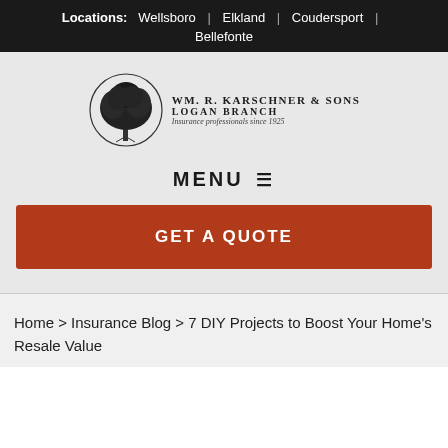Locations: Wellsboro | Elkland | Coudersport | Bellefonte
[Figure (logo): Wm. R. Karschner & Sons Logan Branch – tree logo with text 'Insurance professionals since 1925']
MENU ≡
GET A QUOTE
Home > Insurance Blog > 7 DIY Projects to Boost Your Home's Resale Value